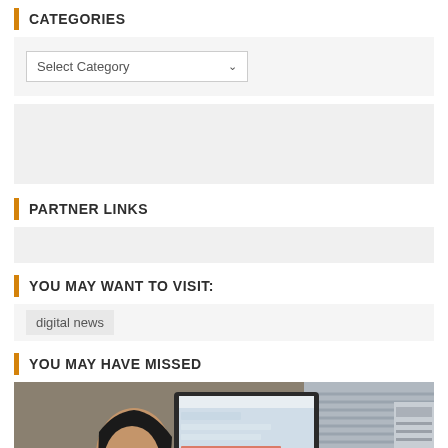CATEGORIES
Select Category
PARTNER LINKS
YOU MAY WANT TO VISIT:
digital news
YOU MAY HAVE MISSED
[Figure (photo): A person wearing safety goggles and a white lab coat working at a computer workstation in a laboratory setting, with monitors and lab equipment visible in the background.]